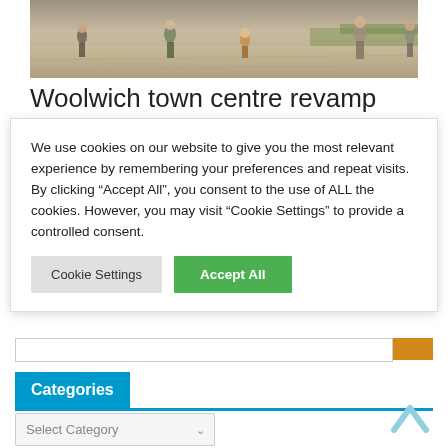[Figure (photo): Aerial/street-level rendering of a town centre plaza with pedestrians walking across paved open space and landscaped planters in the background]
Woolwich town centre revamp plans
We use cookies on our website to give you the most relevant experience by remembering your preferences and repeat visits. By clicking “Accept All”, you consent to the use of ALL the cookies. However, you may visit “Cookie Settings” to provide a controlled consent.
Cookie Settings | Accept All
Categories
Select Category